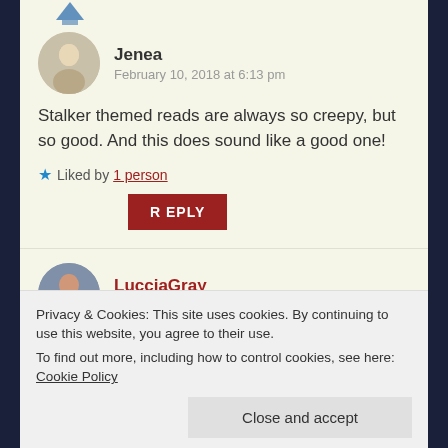Jenea
February 10, 2018 at 6:13 pm
Stalker themed reads are always so creepy, but so good. And this does sound like a good one!
Liked by 1 person
REPLY
LucciaGray
February 22, 2018 at 2:43 pm
Privacy & Cookies: This site uses cookies. By continuing to use this website, you agree to their use.
To find out more, including how to control cookies, see here: Cookie Policy
Close and accept